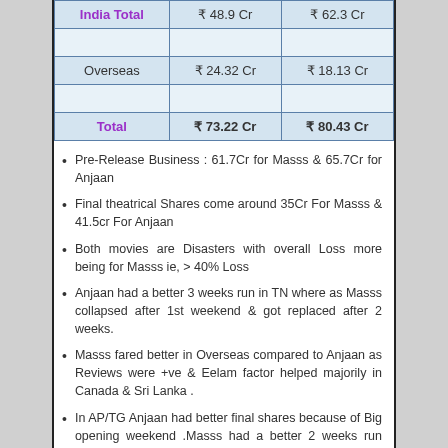|  | Masss | Anjaan |
| --- | --- | --- |
| India Total | ₹ 48.9 Cr | ₹ 62.3 Cr |
|  |  |  |
| Overseas | ₹ 24.32 Cr | ₹ 18.13 Cr |
|  |  |  |
| Total | ₹ 73.22 Cr | ₹ 80.43 Cr |
Pre-Release Business : 61.7Cr for Masss & 65.7Cr for Anjaan
Final theatrical Shares come around 35Cr For Masss & 41.5cr For Anjaan
Both movies are Disasters with overall Loss more being for Masss ie, > 40% Loss
Anjaan had a better 3 weeks run in TN where as Masss collapsed after 1st weekend & got replaced after 2 weeks.
Masss fared better in Overseas compared to Anjaan as Reviews were +ve & Eelam factor helped majorily in Canada & Sri Lanka .
In AP/TG Anjaan had better final shares because of Big opening weekend .Masss had a better 2 weeks run because of the summer vacation but still failed to Cross